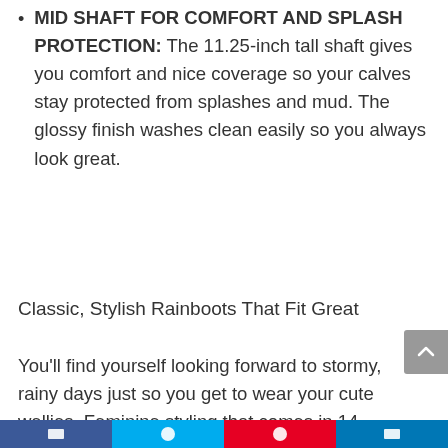MID SHAFT FOR COMFORT AND SPLASH PROTECTION: The 11.25-inch tall shaft gives you comfort and nice coverage so your calves stay protected from splashes and mud. The glossy finish washes clean easily so you always look great.
Classic, Stylish Rainboots That Fit Great
You'll find yourself looking forward to stormy, rainy days just so you get to wear your cute wellies. Feminine styling that comes in 14 gorgeous solids and patterns – all in an easy-to-clean high gloss finish.